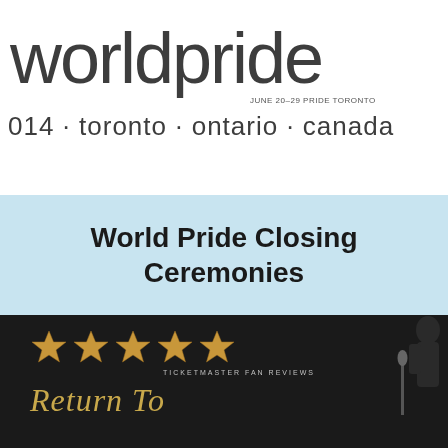[Figure (logo): WorldPride 2014 Toronto Ontario Canada logo with maple leaf icons in red, green, yellow and purple at top]
World Pride Closing Ceremonies
[Figure (photo): Dark promotional image with five gold stars labeled 'TICKETMASTER FAN REVIEWS', cursive text reading 'Return To', and a silhouette of a performer at a microphone on right side]